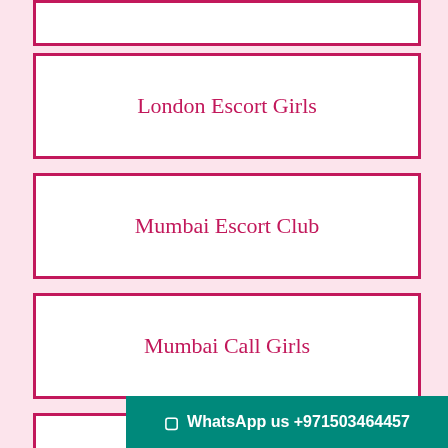London Escort Girls
Mumbai Escort Club
Mumbai Call Girls
Goa Escorts
WhatsApp us +971503464457